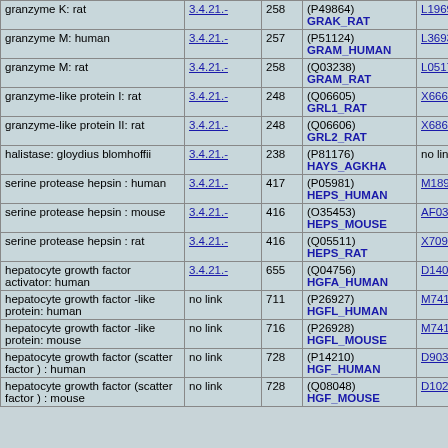| Name | EC | aa | SwissProt | EMBL/GenBank |
| --- | --- | --- | --- | --- |
| granzyme K: rat | 3.4.21.- | 258 | (P49864) GRAK_RAT | L19694 |
| granzyme M: human | 3.4.21.- | 257 | (P51124) GRAM_HUMAN | L36936 |
| granzyme M: rat | 3.4.21.- | 258 | (Q03238) GRAM_RAT | L05175 |
| granzyme-like protein I: rat | 3.4.21.- | 248 | (Q06605) GRL1_RAT | X66693 |
| granzyme-like protein II: rat | 3.4.21.- | 248 | (Q06606) GRL2_RAT | X68657 |
| halistase: gloydius blomhoffii | 3.4.21.- | 238 | (P81176) HAYS_AGKHA | no link |
| serine protease hepsin : human | 3.4.21.- | 417 | (P05981) HEPS_HUMAN | M18930 |
| serine protease hepsin : mouse | 3.4.21.- | 416 | (O35453) HEPS_MOUSE | AF030065 |
| serine protease hepsin : rat | 3.4.21.- | 416 | (Q05511) HEPS_RAT | X70900 |
| hepatocyte growth factor activator: human | 3.4.21.- | 655 | (Q04756) HGFA_HUMAN | D14012 |
| hepatocyte growth factor -like protein: human | no link | 711 | (P26927) HGFL_HUMAN | M74178 |
| hepatocyte growth factor -like protein: mouse | no link | 716 | (P26928) HGFL_MOUSE | M74180 |
| hepatocyte growth factor (scatter factor ) : human | no link | 728 | (P14210) HGF_HUMAN | D90334 |
| hepatocyte growth factor (scatter factor ) : mouse | no link | 728 | (Q08048) HGF_MOUSE | D10212 |